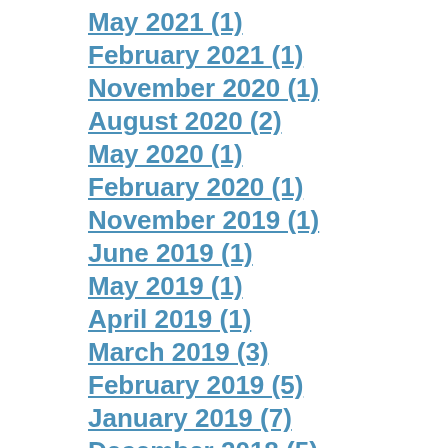May 2021 (1)
February 2021 (1)
November 2020 (1)
August 2020 (2)
May 2020 (1)
February 2020 (1)
November 2019 (1)
June 2019 (1)
May 2019 (1)
April 2019 (1)
March 2019 (3)
February 2019 (5)
January 2019 (7)
December 2018 (5)
November 2018 (6)
October 2018 (4)
September 2018 (5)